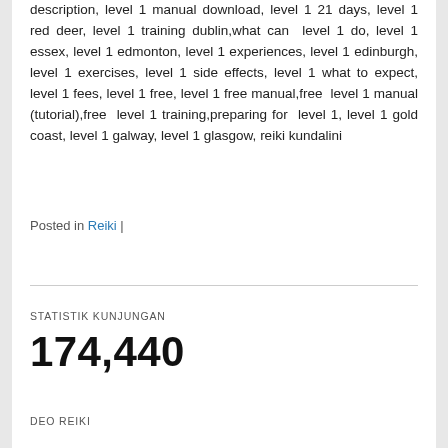description, level 1 manual download, level 1 21 days, level 1 red deer, level 1 training dublin,what can level 1 do, level 1 essex, level 1 edmonton, level 1 experiences, level 1 edinburgh, level 1 exercises, level 1 side effects, level 1 what to expect, level 1 fees, level 1 free, level 1 free manual,free level 1 manual (tutorial),free level 1 training,preparing for level 1, level 1 gold coast, level 1 galway, level 1 glasgow, reiki kundalini
Posted in Reiki |
STATISTIK KUNJUNGAN
174,440
DEO REIKI